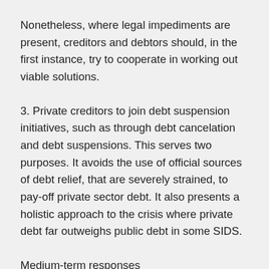Nonetheless, where legal impediments are present, creditors and debtors should, in the first instance, try to cooperate in working out viable solutions.
3. Private creditors to join debt suspension initiatives, such as through debt cancelation and debt suspensions. This serves two purposes. It avoids the use of official sources of debt relief, that are severely strained, to pay-off private sector debt. It also presents a holistic approach to the crisis where private debt far outweighs public debt in some SIDS.
Medium-term responses